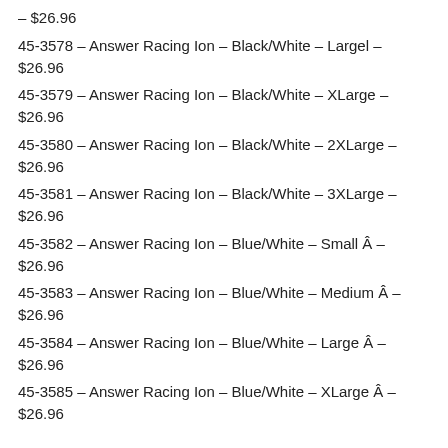– $26.96
45-3578 – Answer Racing Ion – Black/White – Largel – $26.96
45-3579 – Answer Racing Ion – Black/White – XLarge – $26.96
45-3580 – Answer Racing Ion – Black/White – 2XLarge – $26.96
45-3581 – Answer Racing Ion – Black/White – 3XLarge – $26.96
45-3582 – Answer Racing Ion – Blue/White – Small Â – $26.96
45-3583 – Answer Racing Ion – Blue/White – Medium Â – $26.96
45-3584 – Answer Racing Ion – Blue/White – Large Â – $26.96
45-3585 – Answer Racing Ion – Blue/White – XLarge Â – $26.96